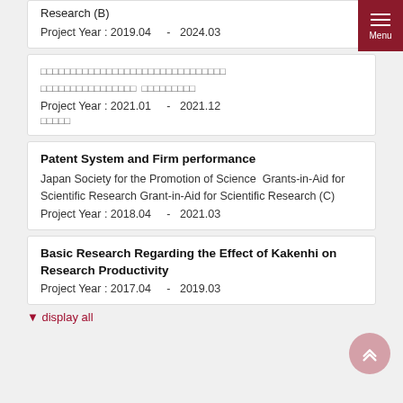Research (B)
Project Year : 2019.04    -   2024.03
□□□□□□□□□□□□□□□□□□□□□□□□□□□□□□
□□□□□□□□□□□□□□□□  □□□□□□□□□
Project Year : 2021.01    -   2021.12
□□□□□
Patent System and Firm performance
Japan Society for the Promotion of Science  Grants-in-Aid for Scientific Research Grant-in-Aid for Scientific Research (C)
Project Year : 2018.04    -   2021.03
Basic Research Regarding the Effect of Kakenhi on Research Productivity
Project Year : 2017.04    -   2019.03
▼ display all